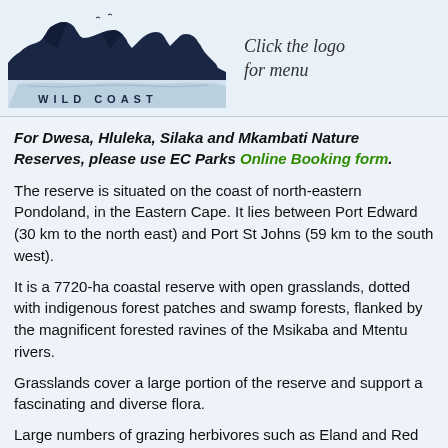[Figure (logo): Wild Coast logo — silhouette of rocky coastal cliffs in dark navy blue with the text WILD COAST below in spaced letters]
Click the logo for menu
For Dwesa, Hluleka, Silaka and Mkambati Nature Reserves, please use EC Parks Online Booking form.
The reserve is situated on the coast of north-eastern Pondoland, in the Eastern Cape. It lies between Port Edward (30 km to the north east) and Port St Johns (59 km to the south west).
It is a 7720-ha coastal reserve with open grasslands, dotted with indigenous forest patches and swamp forests, flanked by the magnificent forested ravines of the Msikaba and Mtentu rivers.
Grasslands cover a large portion of the reserve and support a fascinating and diverse flora.
Large numbers of grazing herbivores such as Eland and Red Hartebeest have been introduced into the